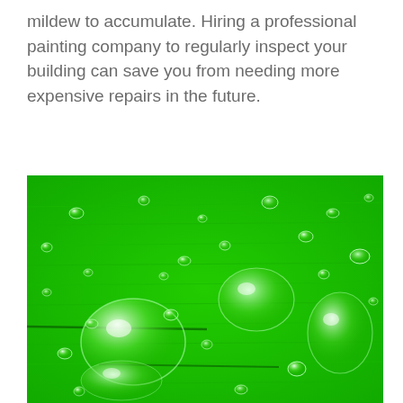mildew to accumulate. Hiring a professional painting company to regularly inspect your building can save you from needing more expensive repairs in the future.
[Figure (photo): Close-up macro photograph of a bright green leaf with water droplets scattered across its surface, showing the leaf veins and texture.]